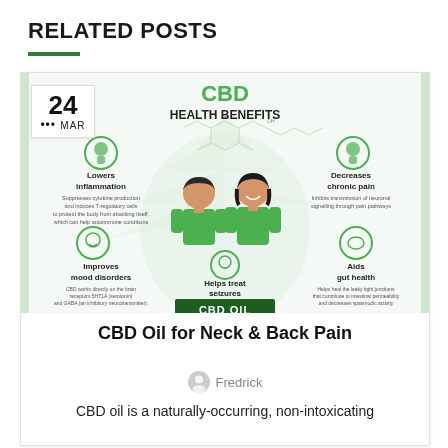RELATED POSTS
[Figure (infographic): CBD Health Benefits infographic showing a man and woman with green cannabis leaf background. Benefits listed: Lowers inflammation, Decreases chronic pain, Improves mood disorders, Aids gut health, Helps treat seizures. CBD OIL label at bottom.]
CBD Oil for Neck & Back Pain
Fredrick
CBD oil is a naturally-occurring, non-intoxicating